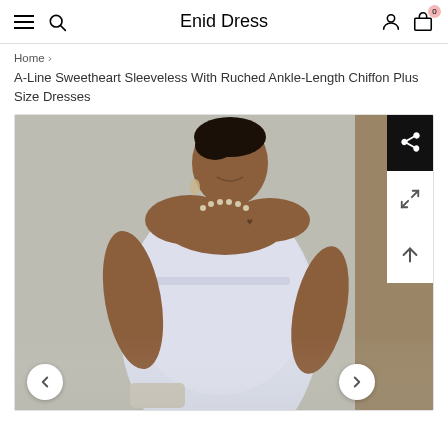Enid Dress
Home > A-Line Sweetheart Sleeveless With Ruched Ankle-Length Chiffon Plus Size Dresses
A-Line Sweetheart Sleeveless With Ruched Ankle-Length Chiffon Plus Size Dresses
[Figure (photo): A woman wearing a light blue/lavender strapless sweetheart neckline chiffon plus size A-line dress, smiling, with a pearl necklace and earrings, standing against a concrete wall background.]